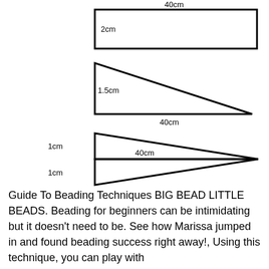[Figure (engineering-diagram): Three geometric shape diagrams: top is a rectangle labeled 40cm wide and 2cm tall; middle is a right triangle labeled 1.5cm height and 40cm base; bottom is a double-triangle (two triangles meeting at a point) labeled 1cm top, 1cm bottom, 40cm length.]
Guide To Beading Techniques BIG BEAD LITTLE BEADS. Beading for beginners can be intimidating but it doesn't need to be. See how Marissa jumped in and found beading success right away!, Using this technique, you can play with